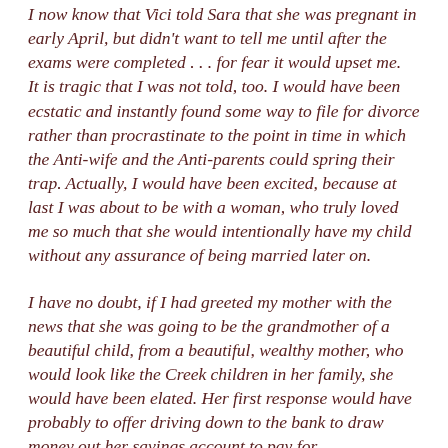I now know that Vici told Sara that she was pregnant in early April, but didn't want to tell me until after the exams were completed . . . for fear it would upset me.  It is tragic that I was not told, too. I would have been ecstatic and instantly found some way to file for divorce rather than procrastinate to the point in time in which the Anti-wife and the Anti-parents could spring their trap. Actually, I would have been excited, because at last I was about to be with a woman, who truly loved me so much that she would intentionally have my child without any assurance of being married later on.
I have no doubt, if I had greeted my mother with the news that she was going to be the grandmother of a beautiful child, from a beautiful, wealthy mother, who would look like the Creek children in her family, she would have been elated. Her first response would have probably to offer driving down to the bank to draw money out her savings account to pay for